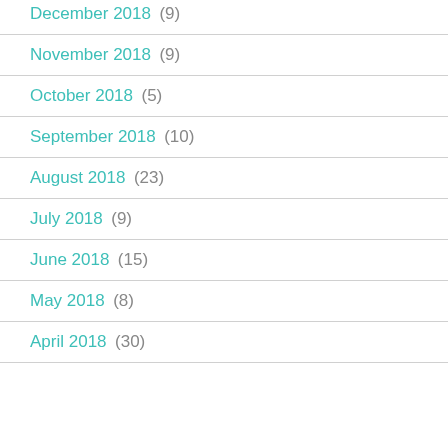December 2018 (9)
November 2018 (9)
October 2018 (5)
September 2018 (10)
August 2018 (23)
July 2018 (9)
June 2018 (15)
May 2018 (8)
April 2018 (30)